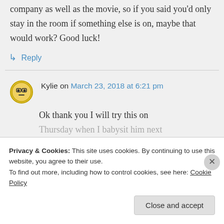company as well as the movie, so if you said you'd only stay in the room if something else is on, maybe that would work? Good luck!
↳ Reply
Kylie on March 23, 2018 at 6:21 pm
Ok thank you I will try this on Thursday when I babysit him next
Privacy & Cookies: This site uses cookies. By continuing to use this website, you agree to their use.
To find out more, including how to control cookies, see here: Cookie Policy